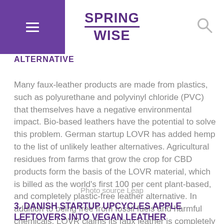SPRINGWISE
ALTERNATIVE
Many faux-leather products are made from plastics, such as polyurethane and polyvinyl chloride (PVC) that themselves have a negative environmental impact. Bio-based leathers have the potential to solve this problem. German startup LOVR has added hemp to the list of unlikely leather alternatives. Agricultural residues from farms that grow the crop for CBD products form the basis of the LOVR material, which is billed as the world's first 100 per cent plant-based, and completely plastic-free leather alternative. In addition to being free from fossil fuels and harmful chemicals, LOVR claims its faux leather is completely biodegradable. Read more.
Photo source Leap
3. DANISH STARTUP UPCYCLES APPLE LEFTOVERS INTO VEGAN LEATHER